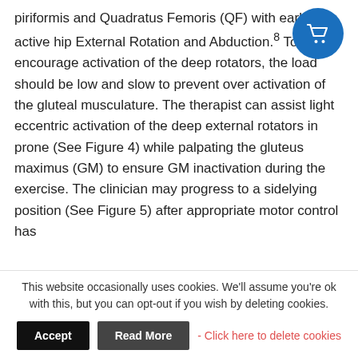piriformis and Quadratus Femoris (QF) with early active hip External Rotation and Abduction.8 To encourage activation of the deep rotators, the load should be low and slow to prevent over activation of the gluteal musculature. The therapist can assist light eccentric activation of the deep external rotators in prone (See Figure 4) while palpating the gluteus maximus (GM) to ensure GM inactivation during the exercise. The clinician may progress to a sidelying position (See Figure 5) after appropriate motor control has
This website occasionally uses cookies. We'll assume you're ok with this, but you can opt-out if you wish by deleting cookies.
Accept | Read More | - Click here to delete cookies